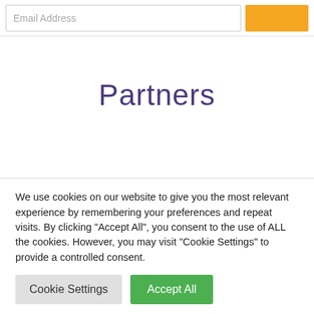Email Address
Partners
[Figure (logo): CIMA logo — stylized purple and pink globe icon with the text 'CIMA' in dark letters]
We use cookies on our website to give you the most relevant experience by remembering your preferences and repeat visits. By clicking "Accept All", you consent to the use of ALL the cookies. However, you may visit "Cookie Settings" to provide a controlled consent.
Cookie Settings
Accept All